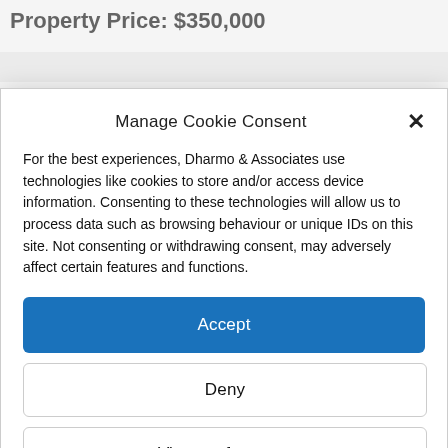Property Price: $350,000
Manage Cookie Consent
For the best experiences, Dharmo & Associates use technologies like cookies to store and/or access device information. Consenting to these technologies will allow us to process data such as browsing behaviour or unique IDs on this site. Not consenting or withdrawing consent, may adversely affect certain features and functions.
Accept
Deny
View preferences
Cookie Policy  Privacy Policy